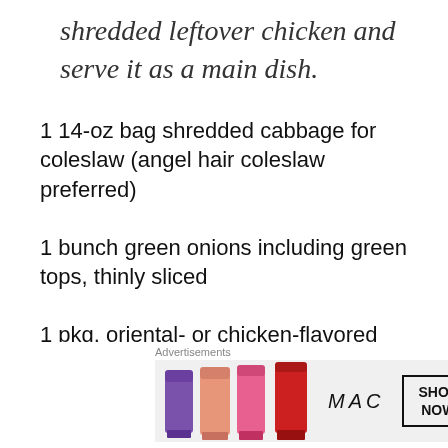shredded leftover chicken and serve it as a main dish.
1 14-oz bag shredded cabbage for coleslaw (angel hair coleslaw preferred)
1 bunch green onions including green tops, thinly sliced
1 pkg. oriental- or chicken-flavored ramen, flavor packet set aside
[Figure (other): MAC Cosmetics advertisement banner showing lipsticks in purple, pink, and red with MAC logo and SHOP NOW button]
Advertisements